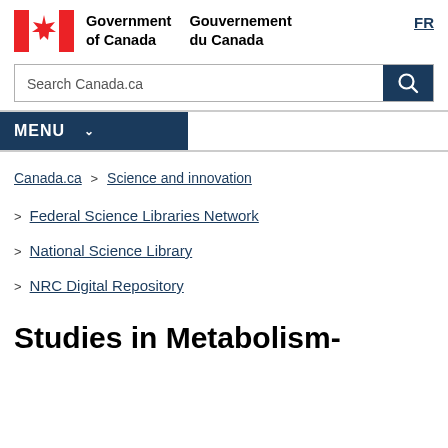Government of Canada / Gouvernement du Canada | FR
Search Canada.ca
MENU
Canada.ca > Science and innovation
> Federal Science Libraries Network
> National Science Library
> NRC Digital Repository
Studies in Metabolism-